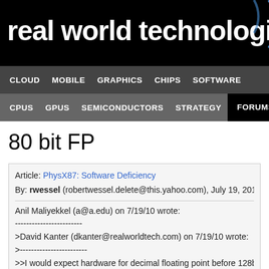real world technologies
CLOUD  MOBILE  GRAPHICS  CHIPS  SOFTWARE
CPUS  GPUS  SEMICONDUCTORS  STRATEGY  FORUMS
80 bit FP
Article: PhysX87: Software Deficiency
By: rwessel (robertwessel.delete@this.yahoo.com), July 19, 2010 5:
Anil Maliyekkel (a@a.edu) on 7/19/10 wrote:
------------------------
>David Kanter (dkanter@realworldtech.com) on 7/19/10 wrote:
>------------------------
>>I would expect hardware for decimal floating point before 128b pre
>>The former just seems more useful and marketable, especially sinc
>
>Or at the same time, given IBM implemented 128 bit decimal FP as
>and 64 bit formats. I have no idea what the performance is like thou